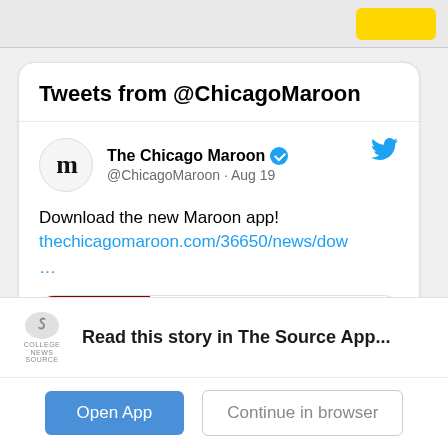Tweets from @ChicagoMaroon
The Chicago Maroon @ChicagoMaroon · Aug 19
Download the new Maroon app!
thechicagomaroon.com/36650/news/dow
…
[Figure (screenshot): Preview card showing thechicagomaroon.com with red M logo and text 'Download the New Maroon App!']
Read this story in The Source App...
Open App   Continue in browser